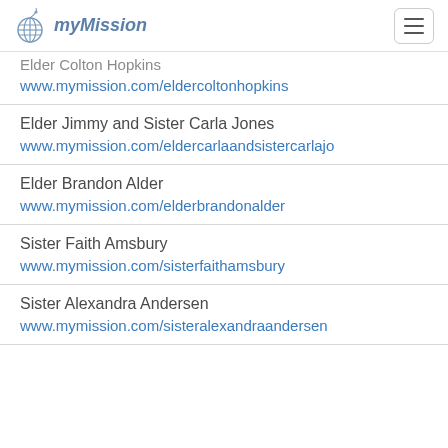MyMission
Elder Colton Hopkins
www.mymission.com/eldercoltonhopkins
Elder Jimmy and Sister Carla Jones
www.mymission.com/eldercarlaandsistercarlajo
Elder Brandon Alder
www.mymission.com/elderbrandonalder
Sister Faith Amsbury
www.mymission.com/sisterfaithamsbury
Sister Alexandra Andersen
www.mymission.com/sisteralexandraandersen